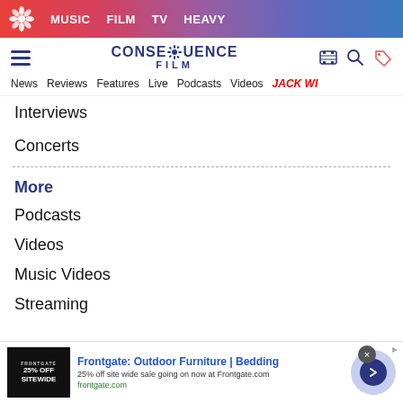MUSIC  FILM  TV  HEAVY
[Figure (logo): Consequence Film logo with gear icon and text CONSEQUENCE FILM]
News  Reviews  Features  Live  Podcasts  Videos  JACK WI
Interviews
Concerts
More
Podcasts
Videos
Music Videos
Streaming
[Figure (screenshot): Advertisement: Frontgate: Outdoor Furniture | Bedding. 25% off site wide sale going on now at Frontgate.com. frontgate.com]